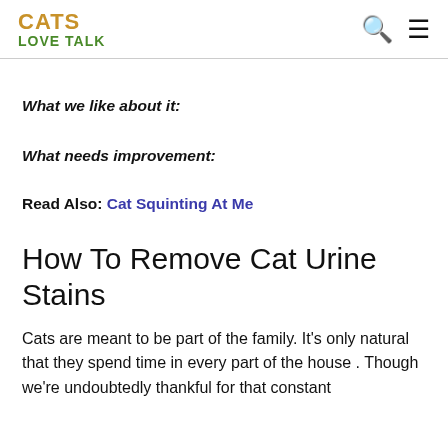CATS LOVE TALK
What we like about it:
What needs improvement:
Read Also: Cat Squinting At Me
How To Remove Cat Urine Stains
Cats are meant to be part of the family. It’s only natural that they spend time in every part of the house. Though we’re undoubtedly thankful for that constant